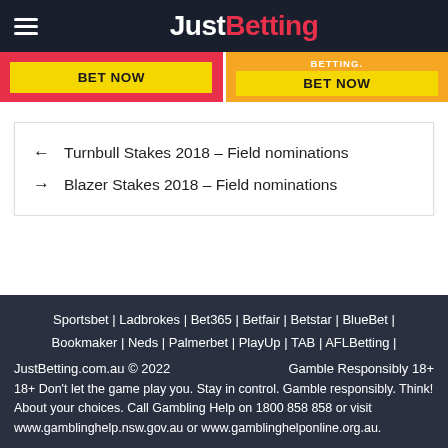JustBetting
[Figure (screenshot): Two BET NOW buttons side by side — left on red background, right on orange background with partial text above]
← Turnbull Stakes 2018 – Field nominations
→ Blazer Stakes 2018 – Field nominations
Sportsbet | Ladbrokes | Bet365 | Betfair | Betstar | BlueBet | Bookmaker | Neds | Palmerbet | PlayUp | TAB | AFLBetting | JustBetting.com.au © 2022   Gamble Responsibly 18+ 18+ Don't let the game play you. Stay in control. Gamble responsibly. Think! About your choices. Call Gambling Help on 1800 858 858 or visit www.gamblinghelp.nsw.gov.au or www.gamblinghelponline.org.au.